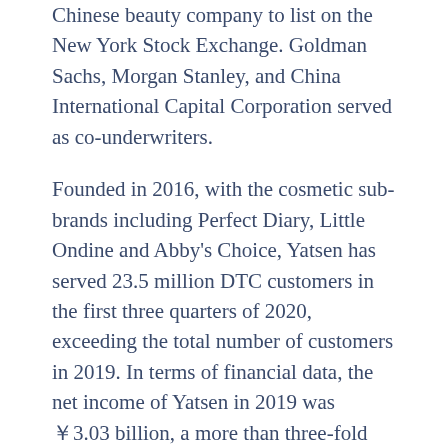October. This heralds Yatsen as the first Chinese beauty company to list on the New York Stock Exchange. Goldman Sachs, Morgan Stanley, and China International Capital Corporation served as co-underwriters.
Founded in 2016, with the cosmetic sub-brands including Perfect Diary, Little Ondine and Abby's Choice, Yatsen has served 23.5 million DTC customers in the first three quarters of 2020, exceeding the total number of customers in 2019. In terms of financial data, the net income of Yatsen in 2019 was ￥3.03 billion, a more than three-fold increase compared to 2018's RMB 635 million.